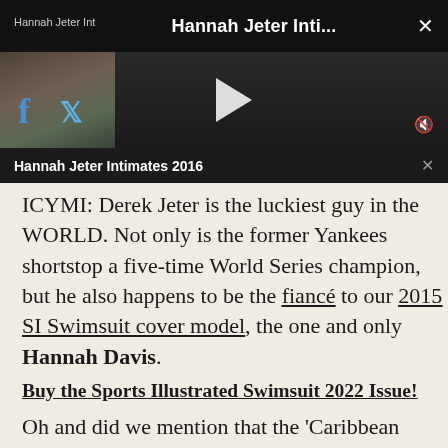[Figure (screenshot): Video player overlay showing 'Hannah Jeter Inti...' with play button, close X, mute icon, thumbnail strip on left with Facebook and Twitter icons, and a dark mini-bar below showing 'Hannah Jeter Intimates 2016' with a close X.]
ICYMI: Derek Jeter is the luckiest guy in the WORLD. Not only is the former Yankees shortstop a five-time World Series champion, but he also happens to be the fiancé to our 2015 SI Swimsuit cover model, the one and only Hannah Davis.
Buy the Sports Illustrated Swimsuit 2022 Issue!
Oh and did we mention that the 'Caribbean queen and future Mrs. Derek Jeter' looks seriously sexy